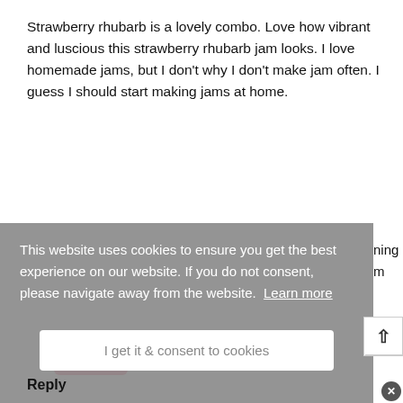Strawberry rhubarb is a lovely combo. Love how vibrant and luscious this strawberry rhubarb jam looks. I love homemade jams, but I don't why I don't make jam often. I guess I should start making jams at home.
Reply
This website uses cookies to ensure you get the best experience on our website. If you do not consent, please navigate away from the website. Learn more
I get it & consent to cookies
Reply